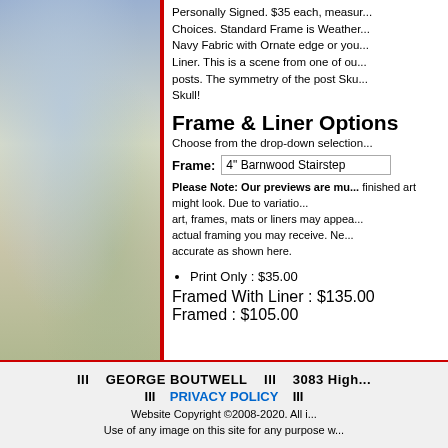[Figure (photo): Left panel showing a landscape/nature scene with muted blue-gray and green tones, serving as decorative background for product page]
Personally Signed. $35 each, measur... Choices. Standard Frame is Weather... Navy Fabric with Ornate edge or you... Liner. This is a scene from one of ou... posts. The symmetry of the post Sku... Skull!
Frame & Liner Options
Choose from the drop-down selection
Frame: 4" Barnwood Stairstep
Please Note: Our previews are mu... finished art might look. Due to variatio... art, frames, mats or liners may appea... actual framing you may receive. Ne... accurate as shown here.
Print Only : $35.00
Framed With Liner : $135.00
Framed : $105.00
III   GEORGE BOUTWELL   III   3083 High   III   PRIVACY POLICY   III   Website Copyright ©2008-2020. All i...   Use of any image on this site for any purpose w...